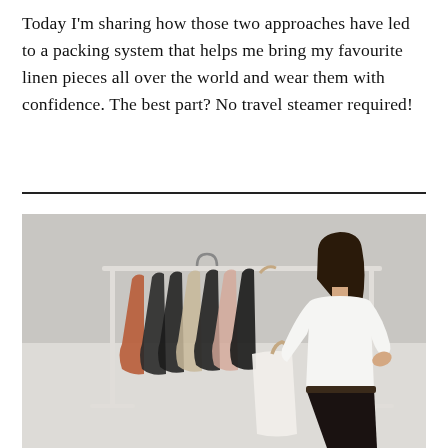Today I'm sharing how those two approaches have led to a packing system that helps me bring my favourite linen pieces all over the world and wear them with confidence. The best part? No travel steamer required!
[Figure (photo): A woman with dark hair wearing a white t-shirt and dark pants stands next to a clothing rack filled with various garments on hangers, examining a white top. The background is a plain light grey wall.]